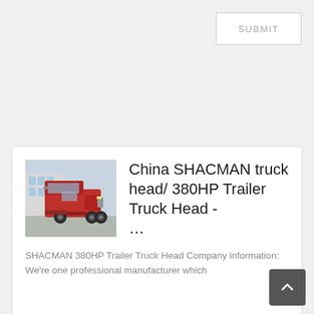SUBMIT
[Figure (photo): Red SHACMAN truck head / tractor unit parked outdoors, front-left view, with building in background.]
China SHACMAN truck head/ 380HP Trailer Truck Head - …
SHACMAN 380HP Trailer Truck Head Company information: We're one professional manufacturer which